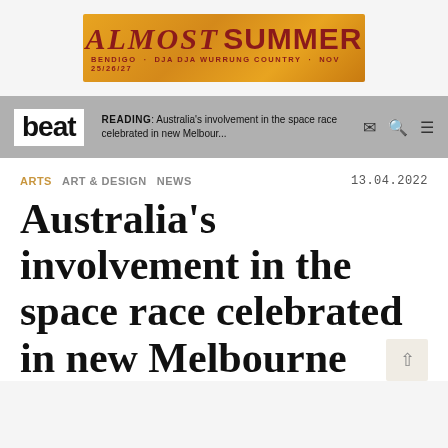[Figure (other): Almost Summer music festival advertisement banner. Orange/golden background with red text reading 'ALMOST SUMMER' and subtitle 'BENDIGO · DJA DJA WURRUNG COUNTRY · NOV 25/26/27']
beat  READING: Australia's involvement in the space race celebrated in new Melbour...
ARTS  ART & DESIGN  NEWS  13.04.2022
Australia's involvement in the space race celebrated in new Melbourne